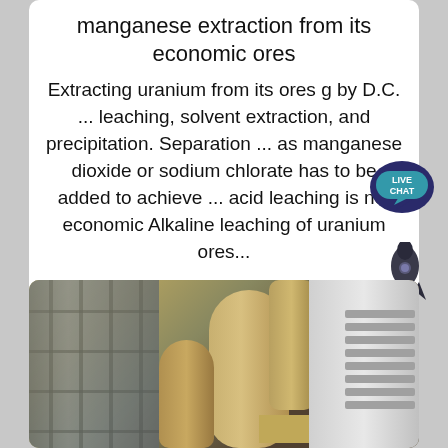manganese extraction from its economic ores
Extracting uranium from its ores g by D.C. ... leaching, solvent extraction, and precipitation. Separation ... as manganese dioxide or sodium chlorate has to be added to achieve ... acid leaching is not economic Alkaline leaching of uranium ores...
[Figure (other): Live chat speech bubble icon with teal background and white text 'LIVE CHAT']
[Figure (other): Rocket ship icon in dark gray/charcoal color]
[Figure (photo): Industrial processing equipment showing large beige/tan cylindrical tanks and piping inside a factory or plant facility, with metal scaffolding on the left and white machinery on the right]